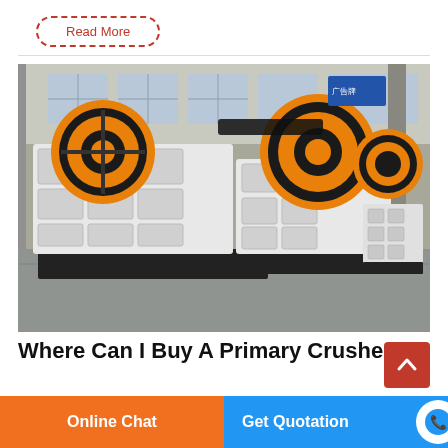Read More
[Figure (photo): Industrial jaw crusher machines displayed in a large factory warehouse. Two large white and black jaw crushers with orange flywheel rims are prominently shown in the foreground, with a third smaller unit visible in the background. The factory has large windows and a concrete floor.]
Where Can I Buy A Primary Crusher
Online Chat
Get Quotation